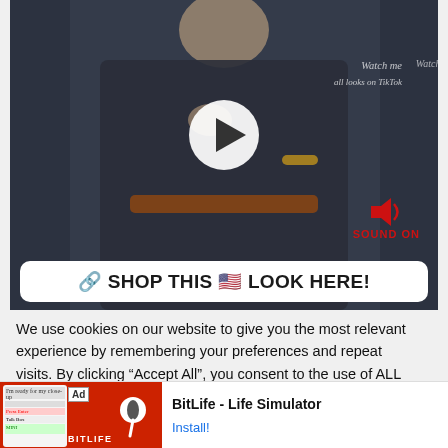[Figure (screenshot): Video thumbnail showing a woman in a dark navy shirt dress with a brown belt, holding jewelry at her chest. A white play button triangle is overlaid in the center. Text overlay says 'SOUND ON' in red with a speaker icon. Watermark text partially visible at top right. A white banner at the bottom reads '🔗 SHOP THIS 🇺🇸 LOOK HERE!']
We use cookies on our website to give you the most relevant experience by remembering your preferences and repeat visits. By clicking "Accept All", you consent to the use of ALL the cookies. However, you may visit "Cookie Settings" to provide a controlled consent.
[Figure (screenshot): Advertisement banner for BitLife - Life Simulator app. Shows red background with BitLife logo (sperm cell icon) on left, 'Ad' label, and 'BitLife - Life Simulator' text with 'Install!' link in blue on right.]